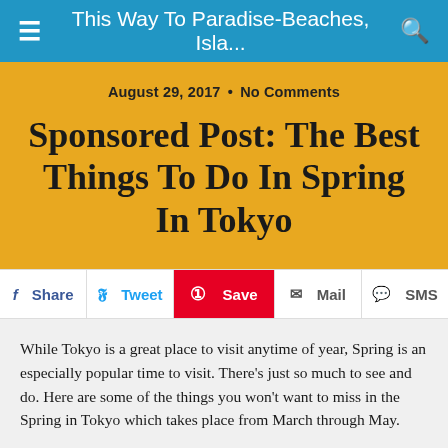This Way To Paradise-Beaches, Isla...
August 29, 2017 • No Comments
Sponsored Post: The Best Things To Do In Spring In Tokyo
Share  Tweet  Save  Mail  SMS
While Tokyo is a great place to visit anytime of year, Spring is an especially popular time to visit. There's just so much to see and do. Here are some of the things you won't want to miss in the Spring in Tokyo which takes place from March through May.
1. View The Cherry Blossoms